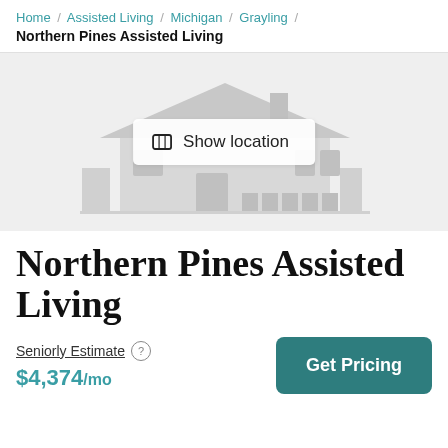Home / Assisted Living / Michigan / Grayling / Northern Pines Assisted Living
[Figure (illustration): Gray illustrated building/house placeholder image with a 'Show location' button overlay in the center]
Northern Pines Assisted Living
Seniorly Estimate
$4,374/mo
Get Pricing